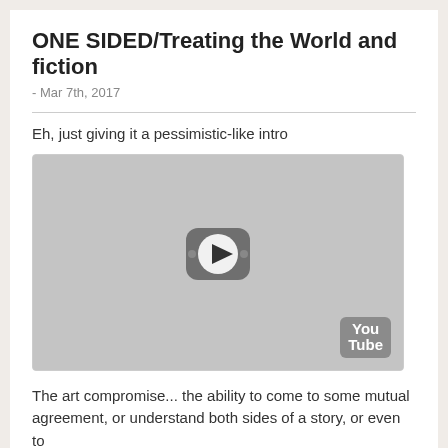ONE SIDED/Treating the World and fiction
- Mar 7th, 2017
[Figure (screenshot): YouTube video embed placeholder showing a play button and YouTube logo on a grey background]
Eh, just giving it a pessimistic-like intro
The art compromise... the ability to come to some mutual agreement, or understand both sides of a story, or even to